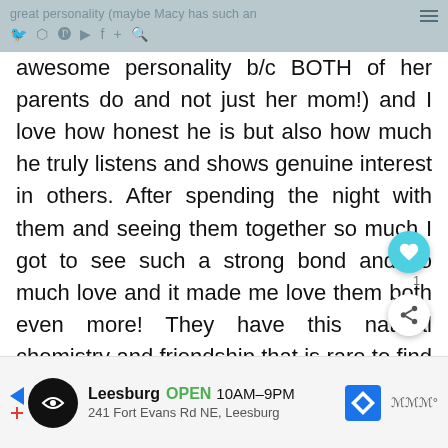great personality (maybe Macy has such an awesome personality b/c BOTH of her parents
great personality (maybe Macy has such an awesome personality b/c BOTH of her parents do and not just her mom!) and I love how honest he is but also how much he truly listens and shows genuine interest in others. After spending the night with them and seeing them together so much I got to see such a strong bond and so much love and it made me love them both even more! They have this natural chemistry and friendship that is rare to find and so special and I admire them so much.
[Figure (other): Advertisement banner: Leesburg, OPEN 10AM-9PM, 241 Fort Evans Rd NE, Leesburg]